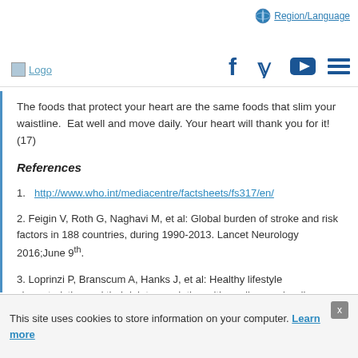Logo | Region/Language | Social icons | Menu
The foods that protect your heart are the same foods that slim your waistline.  Eat well and move daily. Your heart will thank you for it! (17)
References
1. http://www.who.int/mediacentre/factsheets/fs317/en/
2. Feigin V, Roth G, Naghavi M, et al: Global burden of stroke and risk factors in 188 countries, during 1990-2013. Lancet Neurology 2016;June 9th.
3. Loprinzi P, Branscum A, Hanks J, et al: Healthy lifestyle characteristics and their joint association with cardiovascular disease biomarkers in US adults. Mayo Clinic Proceedings 2016;91:432-442.
This site uses cookies to store information on your computer. Learn more